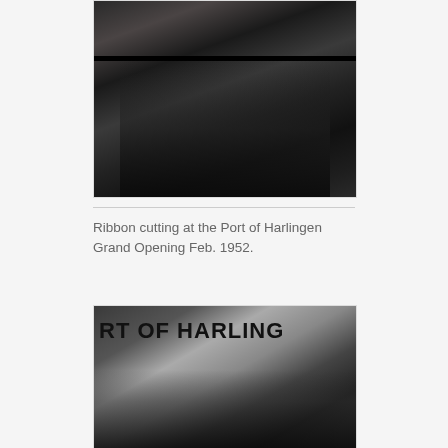[Figure (photo): Black and white photo of a ribbon cutting ceremony at the Port of Harlingen, February 1952. Several people are standing, a ribbon is visible across the scene.]
Ribbon cutting at the Port of Harlingen Grand Opening Feb. 1952.
[Figure (photo): Black and white photo showing a speaker at a podium in front of a sign reading 'PORT OF HARLINGEN'. Several people visible.]